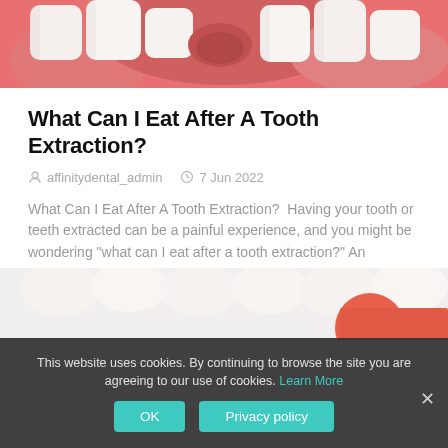[Figure (photo): Close-up dental illustration showing teeth and pink gum tissue with an extracted tooth socket, pinkish-red background tones.]
What Can I Eat After A Tooth Extraction?
affinitydental_admin   7 Jun 2022
What Can I Eat After A Tooth Extraction?  Having your tooth or teeth extracted can be a painful experience, and you might be wondering "what can I eat after a tooth extraction?" An extraction is the
READ MORE ▶
[Figure (photo): Partial dental illustration showing white teeth and a red/pink toothbrush at the bottom of the page.]
This website uses cookies. By continuing to browse the site you are agreeing to our use of cookies. Learn More
OK   Privacy policy